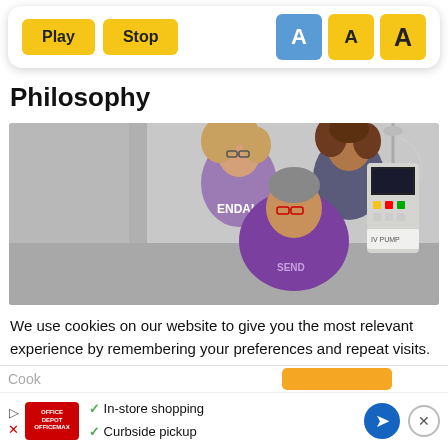[Figure (screenshot): Toolbar with Play and Stop yellow buttons on left, and three A buttons (one blue/selected, two yellow) on right for text size control]
Philosophy
[Figure (photo): Three people smiling in a medical/infusion setting. Two women standing behind a seated man in a purple shirt. An IV infusion pump is visible on the right. The women wear purple tops; one shirt reads ENDAL.]
We use cookies on our website to give you the most relevant experience by remembering your preferences and repeat visits. By clicking “Accept”, you consent to the use of ALL the cookies.
[Figure (screenshot): Partial cookie settings row and an advertisement banner showing Office Depot logo, checkmarks for In-store shopping and Curbside pickup, a blue navigation arrow icon, and an X close button]